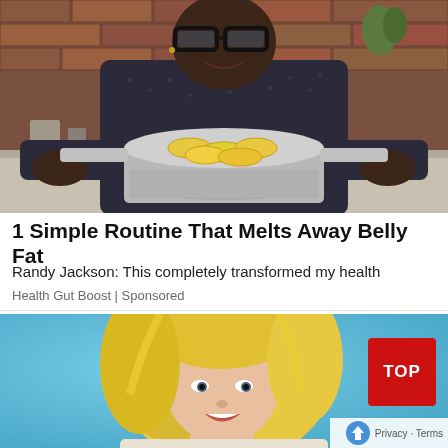[Figure (photo): Man with large glasses holding a silver pot filled with lemon slices, in a kitchen setting with brick wall background]
1 Simple Routine That Melts Away Belly Fat
Randy Jackson: This completely transformed my health
Health Gut Boost | Sponsored
[Figure (photo): Blonde woman against a light blue background, partially visible; overlaid with a red TOP button and reCAPTCHA Privacy/Terms badge]